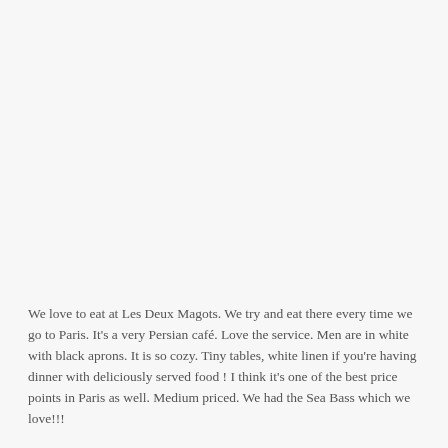We love to eat at Les Deux Magots. We try and eat there every time we go to Paris. It's a very Persian café. Love the service. Men are in white with black aprons. It is so cozy. Tiny tables, white linen if you're having dinner with deliciously served food ! I think it's one of the best price points in Paris as well. Medium priced. We had the Sea Bass which we love!!!